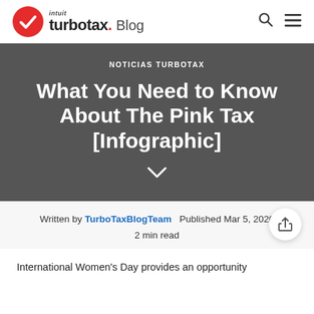intuit turbotax. Blog
NOTICIAS TURBOTAX
What You Need to Know About The Pink Tax [Infographic]
Written by TurboTaxBlogTeam  Published Mar 5, 2020
2 min read
International Women’s Day provides an opportunity